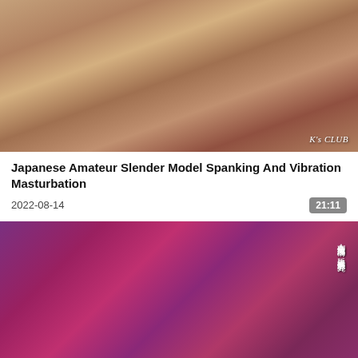[Figure (photo): Video thumbnail showing a bedroom scene with a person wearing a black bikini and a face mask, warm brown tones, with watermark K's CLUB in lower right]
Japanese Amateur Slender Model Spanking And Vibration Masturbation
2022-08-14
21:11
[Figure (photo): Video thumbnail with purple and pink lighting showing a person wearing devil horns costume, bending forward; Chinese text watermark on right side reading 本劇情純屬虛構，版權所有翻版必究]